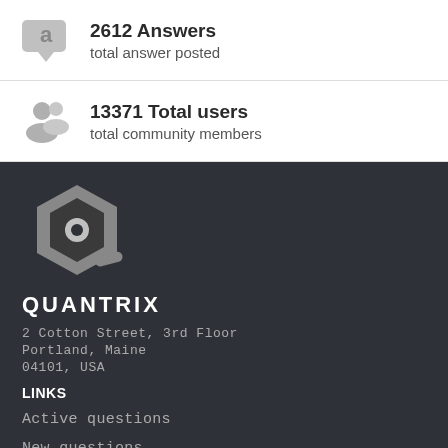2612 Answers — total answer posted
13371 Total users — total community members
[Figure (logo): Quantrix hexagonal logo in white/grey on dark background]
QUANTRIX
2 Cotton Street, 3rd Floor
Portland, Maine
04101, USA
LINKS
Active questions
New questions
Most viewed questions